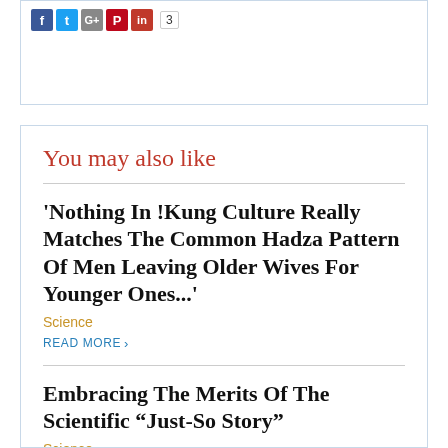[Figure (other): Social share icons: Facebook, Twitter, Google+, Pinterest, another red icon, and a share count of 3]
You may also like
'Nothing In !Kung Culture Really Matches The Common Hadza Pattern Of Men Leaving Older Wives For Younger Ones...'
Science
READ MORE
Embracing The Merits Of The Scientific “Just-So Story”
Science
READ MORE
The Open-Science Internet
Science